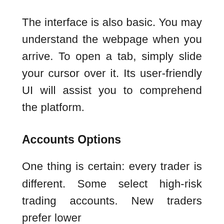The interface is also basic. You may understand the webpage when you arrive. To open a tab, simply slide your cursor over it. Its user-friendly UI will assist you to comprehend the platform.
Accounts Options
One thing is certain: every trader is different. Some select high-risk trading accounts. New traders prefer lower